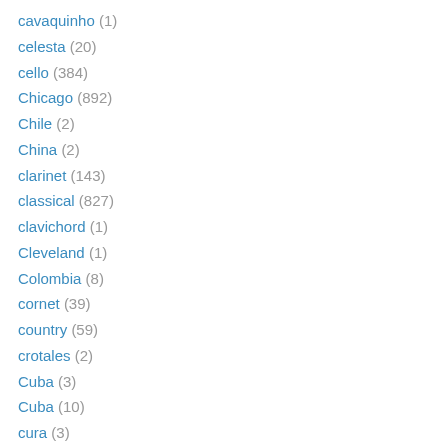cavaquinho (1)
celesta (20)
cello (384)
Chicago (892)
Chile (2)
China (2)
clarinet (143)
classical (827)
clavichord (1)
Cleveland (1)
Colombia (8)
cornet (39)
country (59)
crotales (2)
Cuba (3)
Cuba (10)
cura (3)
Cyprus (2)
dan tranh (1)
Democratic Republic of Congo (13)